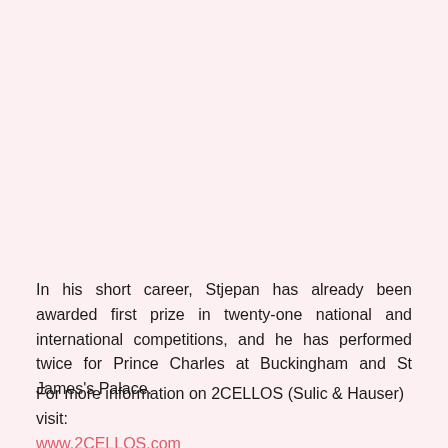In his short career, Stjepan has already been awarded first prize in twenty-one national and international competitions, and he has performed twice for Prince Charles at Buckingham and St James's Palace.
For more information on 2CELLOS (Sulic & Hauser) visit: www.2CELLOS.com